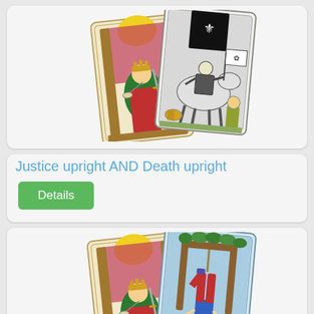[Figure (illustration): Two tarot cards side by side: Justice card (upright, woman seated on throne with sword and scales) and Death card (upright, skeleton on horseback)]
Justice upright AND Death upright
Details
[Figure (illustration): Two tarot cards side by side: Justice card (upright, woman seated on throne) and Hanged Man card (figure hanging upside down from wooden structure)]